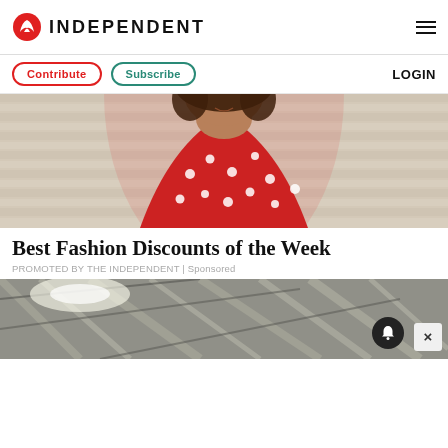INDEPENDENT
Contribute | Subscribe | LOGIN
[Figure (photo): Woman in red polka dot dress smiling, fashion editorial photo against striped background]
Best Fashion Discounts of the Week
PROMOTED BY THE INDEPENDENT | Sponsored
[Figure (photo): Photo of metallic/silver industrial ceiling or structure, partially obscured, with notification bell button and close (X) button overlay]